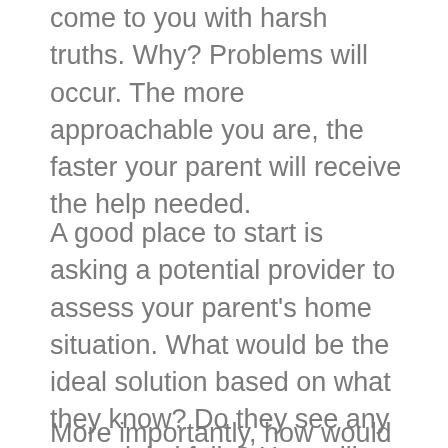come to you with harsh truths. Why? Problems will occur. The more approachable you are, the faster your parent will receive the help needed.
A good place to start is asking a potential provider to assess your parent's home situation. What would be the ideal solution based on what they know? Do they see any potential pitfalls? How will they inform you if your parent's issues start getting worse?
More importantly, how would they